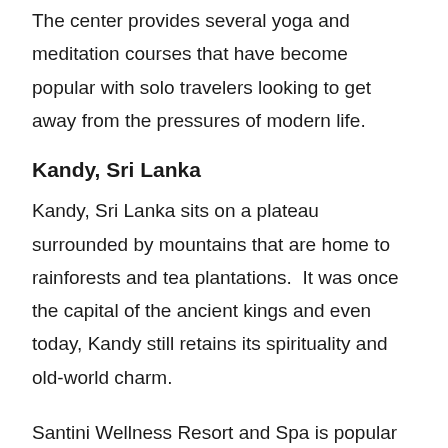The center provides several yoga and meditation courses that have become popular with solo travelers looking to get away from the pressures of modern life.
Kandy, Sri Lanka
Kandy, Sri Lanka sits on a plateau surrounded by mountains that are home to rainforests and tea plantations.  It was once the capital of the ancient kings and even today, Kandy still retains its spirituality and old-world charm.
Santini Wellness Resort and Spa is popular with wellness travelers as it combines the comforts of